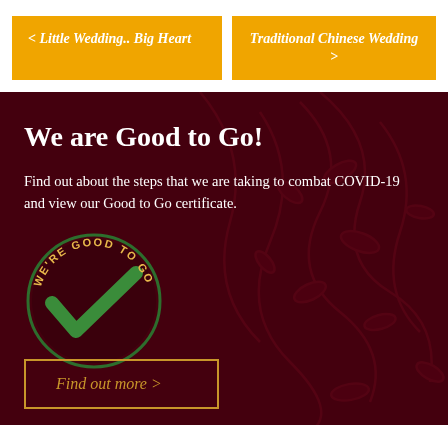< Little Wedding.. Big Heart
Traditional Chinese Wedding >
We are Good to Go!
Find out about the steps that we are taking to combat COVID-19 and view our Good to Go certificate.
[Figure (logo): We're Good to Go circular badge with green checkmark]
Find out more >